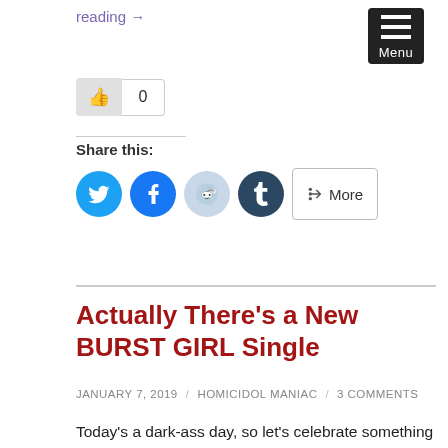reading →
[Figure (screenshot): Menu button (hamburger icon) in black rounded rectangle with 'Menu' label]
[Figure (screenshot): Like/thumbs-up button with count 0]
Share this:
[Figure (screenshot): Social share icons: Twitter (blue bird), Facebook (blue f), Reddit (light blue alien), Tumblr (dark blue t), and More button]
Actually There's a New BURST GIRL Single
JANUARY 7, 2019 / HOMICIDOL MANIAC / 3 COMMENTS
Today's a dark-ass day, so let's celebrate something